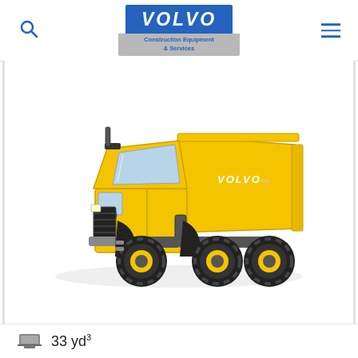VOLVO Construction Equipment & Services
[Figure (photo): Volvo articulated dump truck (yellow), model shown with large off-road tires, VOLVO branding on dump body, side/front three-quarter view on white background.]
33 yd³